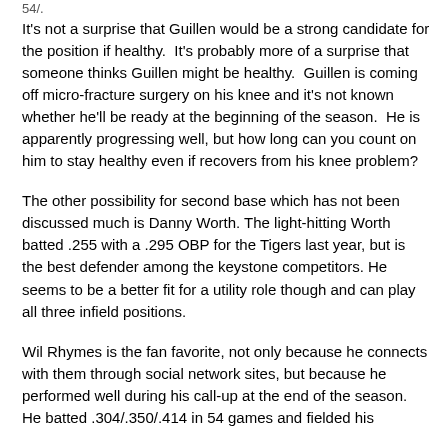54/.
It's not a surprise that Guillen would be a strong candidate for the position if healthy.  It's probably more of a surprise that someone thinks Guillen might be healthy.  Guillen is coming off micro-fracture surgery on his knee and it's not known whether he'll be ready at the beginning of the season.  He is apparently progressing well, but how long can you count on him to stay healthy even if recovers from his knee problem?
The other possibility for second base which has not been discussed much is Danny Worth. The light-hitting Worth batted .255 with a .295 OBP for the Tigers last year, but is the best defender among the keystone competitors. He seems to be a better fit for a utility role though and can play all three infield positions.
Wil Rhymes is the fan favorite, not only because he connects with them through social network sites, but because he performed well during his call-up at the end of the season.  He batted .304/.350/.414 in 54 games and fielded his